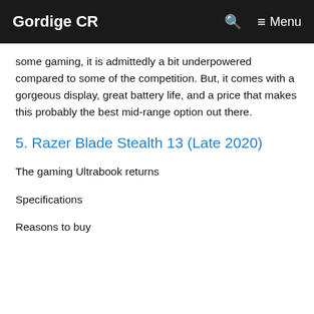Gordige CR | Menu
some gaming, it is admittedly a bit underpowered compared to some of the competition. But, it comes with a gorgeous display, great battery life, and a price that makes this probably the best mid-range option out there.
5. Razer Blade Stealth 13 (Late 2020)
The gaming Ultrabook returns
Specifications
Reasons to buy